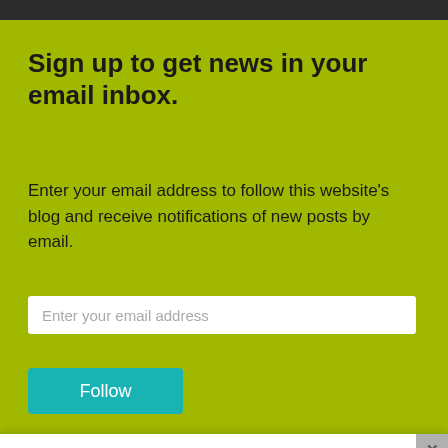Sign up to get news in your email inbox.
Enter your email address to follow this website's blog and receive notifications of new posts by email.
Privacy & Cookies: This site uses cookies. By continuing to use this website, you agree to their use.
To find out more, including how to control cookies, see here: Cookie Policy
Close and accept